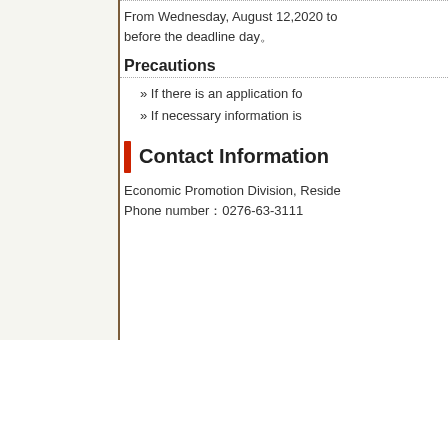From Wednesday, August 12,2020 to before the deadline day。
Precautions
» If there is an application fo
» If necessary information is
Contact Information
Economic Promotion Division, Reside Phone number：0276-63-3111